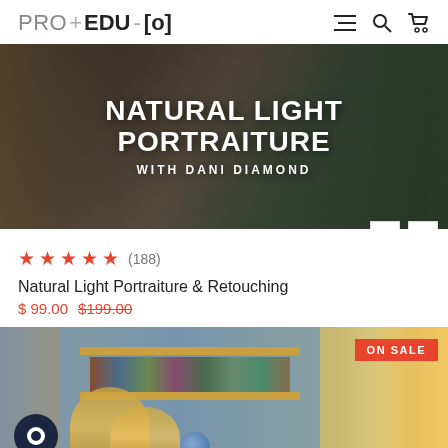PRO+EDU [o]
[Figure (photo): Hero banner image for Natural Light Portraiture course with Dani Diamond, showing a dark moody background with bold white text overlay saying NATURAL LIGHT PORTRAITURE / WITH DANI DIAMOND]
★★★★½ (188)
Natural Light Portraiture & Retouching
$99.00  $199.00
[Figure (photo): Second course image showing a room with straw hats on a blue wall, bookshelves, a globe, and a warm lit doorway. ON SALE badge in top right corner. Chat bubble icon in bottom left.]